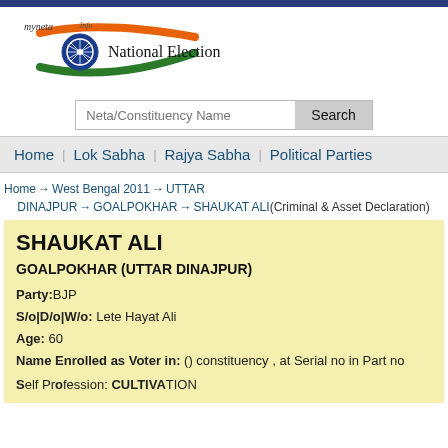[Figure (logo): myneta.info National Election Watch logo with Indian flag motif]
Neta/Constituency Name [search input] Search
Home | Lok Sabha | Rajya Sabha | Political Parties
Home → West Bengal 2011 → UTTAR DINAJPUR → GOALPOKHAR → SHAUKAT ALI(Criminal & Asset Declaration)
SHAUKAT ALI
GOALPOKHAR (UTTAR DINAJPUR)
Party: BJP
S/o|D/o|W/o: Lete Hayat Ali
Age: 60
Name Enrolled as Voter in: () constituency , at Serial no in Part no
Self Profession: CULTIVATION